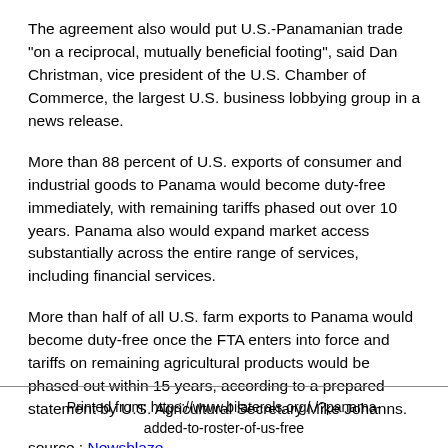The agreement also would put U.S.-Panamanian trade "on a reciprocal, mutually beneficial footing", said Dan Christman, vice president of the U.S. Chamber of Commerce, the largest U.S. business lobbying group in a news release.
More than 88 percent of U.S. exports of consumer and industrial goods to Panama would become duty-free immediately, with remaining tariffs phased out over 10 years. Panama also would expand market access substantially across the entire range of services, including financial services.
More than half of all U.S. farm exports to Panama would become duty-free once the FTA enters into force and tariffs on remaining agricultural products would be phased out within 15 years, according to a prepared statement by U.S. Agricultural Secretary Mike Johanns.
source : Newsblaze
Printed from: https://www.bilaterals.org/./?panama-added-to-roster-of-us-free